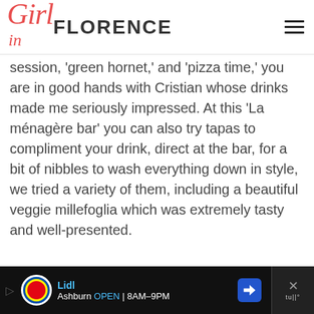Girl in Florence
session, 'green hornet,' and 'pizza time,' you are in good hands with Cristian whose drinks made me seriously impressed. At this 'La ménagère bar' you can also try tapas to compliment your drink, direct at the bar, for a bit of nibbles to wash everything down in style, we tried a variety of them, including a beautiful veggie millefoglia which was extremely tasty and well-presented.
Gourmet Coffee: Yep, this place
[Figure (screenshot): Lidl advertisement banner at bottom of page showing Lidl logo, name, Ashburn location, OPEN 8AM-9PM hours, navigation arrow icon, and a close button with X symbol]